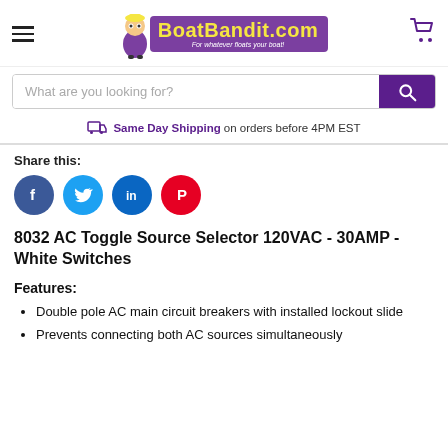[Figure (logo): BoatBandit.com logo with cartoon pirate character, yellow text on purple background, tagline 'For whatever floats your boat!']
What are you looking for?
Same Day Shipping on orders before 4PM EST
Share this:
[Figure (other): Social media share icons: Facebook (blue), Twitter (light blue), LinkedIn (dark blue), Pinterest (red)]
8032 AC Toggle Source Selector 120VAC - 30AMP - White Switches
Features:
Double pole AC main circuit breakers with installed lockout slide
Prevents connecting both AC sources simultaneously